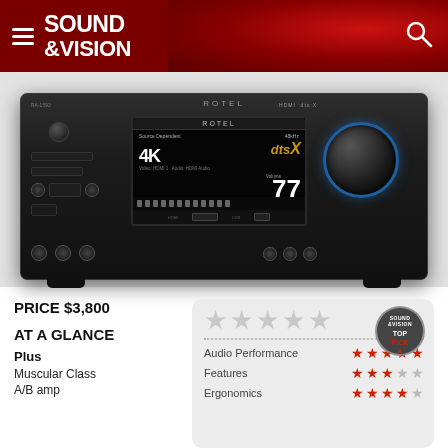SOUND & VISION
[Figure (photo): Rotel RA-1592 MkII stereo receiver/amplifier, black front panel with display showing 4K, dts:X, Volume 77, and HDMI inputs]
PRICE $3,800
AT A GLANCE
Plus
Muscular Class A/B amp
[Figure (infographic): Rating card with Top Pick badge, 5 large background stars, and three rating rows: Audio Performance 5/5 stars, Features 3/5 stars, Ergonomics 3.5/5 stars]